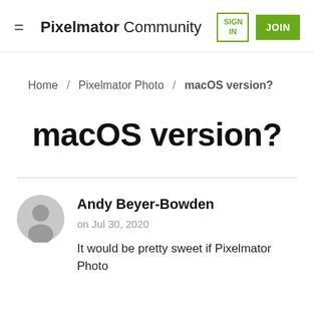Pixelmator Community  SIGN IN  JOIN
Home / Pixelmator Photo / macOS version?
macOS version?
Andy Beyer-Bowden
on Jul 30, 2020
It would be pretty sweet if Pixelmator Photo